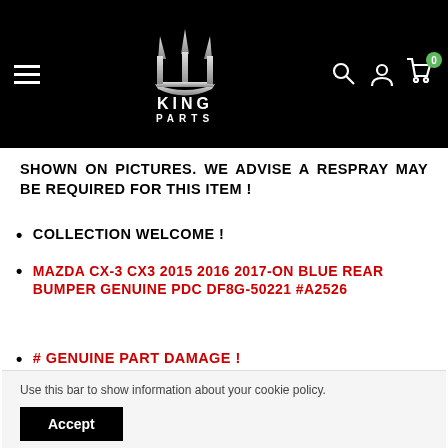[Figure (logo): King Parts logo with trident symbol on black background header with hamburger menu, search, user, and cart icons]
SHOWN ON PICTURES. WE ADVISE A RESPRAY MAY BE REQUIRED FOR THIS ITEM !
COLLECTION WELCOME !
MAZDA CX-3 CX3 2015 2016 2017-ON BLUE REAR BUMPER GENUINE PDC DF8G-50221 #A2526
# GENUINE PART DAMAGE !
Use this bar to show information about your cookie policy.
HAS DENTS ON IT SEE PICTURES